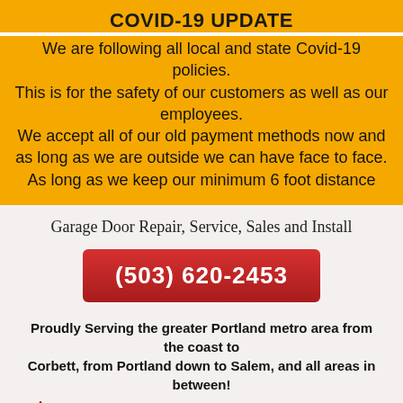COVID-19 UPDATE
We are following all local and state Covid-19 policies. This is for the safety of our customers as well as our employees.
We accept all of our old payment methods now and as long as we are outside we can have face to face. As long as we keep our minimum 6 foot distance
Garage Door Repair, Service, Sales and Install
(503) 620-2453
Proudly Serving the greater Portland metro area from the coast to Corbett, from Portland down to Salem, and all areas in between!
[Figure (logo): All About Garage Doors logo with red triangle/A shape on left and red bold text 'All About' on right]
Phone   Map